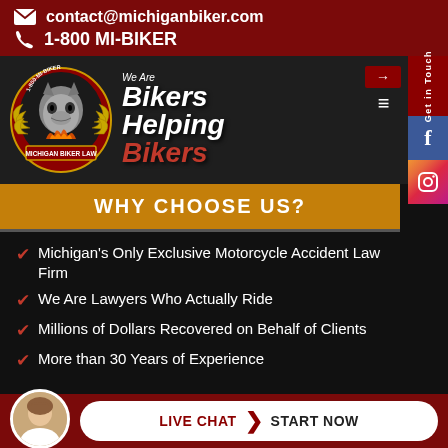contact@michiganbiker.com
1-800 MI-BIKER
[Figure (logo): Michigan Biker Law logo with wolf and wings, 1-800-MI-BIKER branding, with tagline 'We Are Bikers Helping Bikers']
WHY CHOOSE US?
Michigan's Only Exclusive Motorcycle Accident Law Firm
We Are Lawyers Who Actually Ride
Millions of Dollars Recovered on Behalf of Clients
More than 30 Years of Experience
LIVE CHAT START NOW